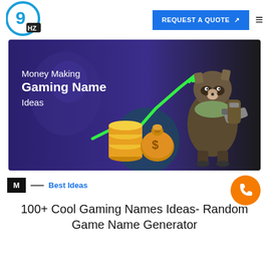[Figure (logo): 9hz logo — blue circle with '9' and 'HZ' text inside]
[Figure (illustration): Gaming banner with dark blue/purple background, text 'Money Making Gaming Name Ideas' with green upward arrow, gold coins and money bag, and a 3D raccoon warrior character on the right]
M — Best Ideas
100+ Cool Gaming Names Ideas- Random Game Name Generator